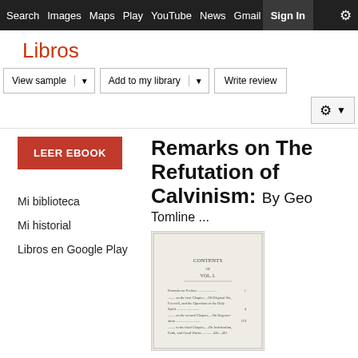Search  Images  Maps  Play  YouTube  News  Gmail  Drive  More  Sign in  ⚙
Libros
View sample ▾   Add to my library ▾   Write review   ⚙ ▾
LEER EBOOK
Mi biblioteca
Mi historial
Libros en Google Play
Remarks on The Refutation of Calvinism: By Geo Tomline ...
[Figure (photo): Scanned book page showing CONTENTS / VOL. I. table of contents with entries like Remarks on Preface, on the first Chapter, on the second Chapter, on the third Chapter, with page numbers.]
Thom  autho  ★★  0 Opi